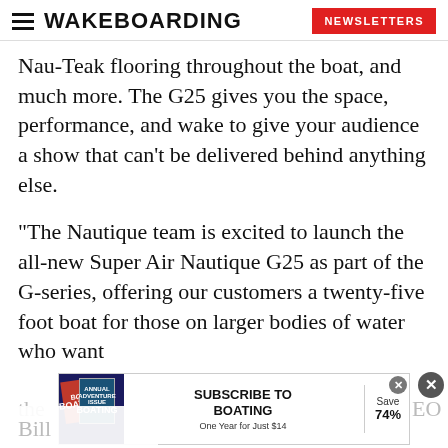WAKEBOARDING  NEWSLETTERS
Nau-Teak flooring throughout the boat, and much more. The G25 gives you the space, performance, and wake to give your audience a show that can’t be delivered behind anything else.
“The Nautique team is excited to launch the all-new Super Air Nautique G25 as part of the G-series, offering our customers a twenty-five foot boat for those on larger bodies of water who want the [...]  CEO Bill [...]
[Figure (other): Advertisement banner: Subscribe to Boating - One Year for Just $14, Save 74%]